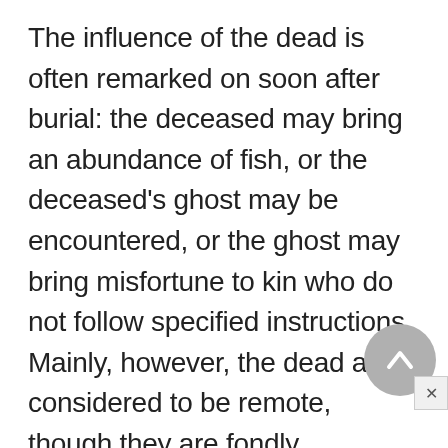The influence of the dead is often remarked on soon after burial: the deceased may bring an abundance of fish, or the deceased's ghost may be encountered, or the ghost may bring misfortune to kin who do not follow specified instructions. Mainly, however, the dead are considered to be remote, though they are fondly remembered.